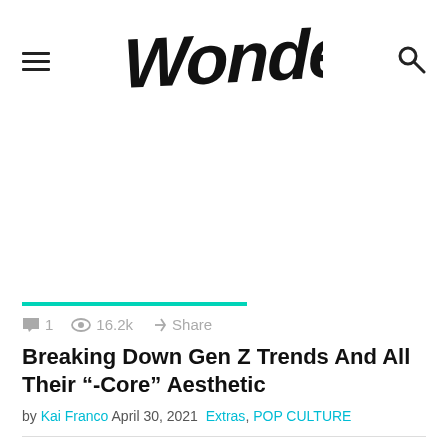WONDER
[Figure (other): Advertisement / blank white space area]
1  16.2k  Share
Breaking Down Gen Z Trends And All Their "-Core" Aesthetic
by Kai Franco  April 30, 2021  Extras, POP CULTURE